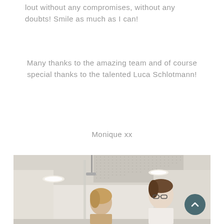lout without any compromises, without any doubts! Smile as much as I can!
Many thanks to the amazing team and of course special thanks to the talented Luca Schlotmann!
Monique xx
[Figure (photo): Two people in a modern office corridor with white walls and perforated ceiling tiles. A woman with blonde hair and a man with glasses and brown hair facing each other in conversation.]